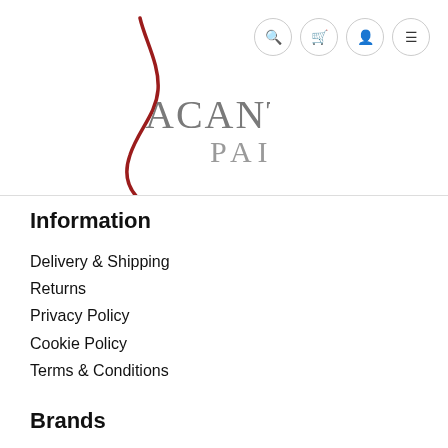[Figure (logo): Acanthus Paint logo with red brushstroke curve and grey text]
Information
Delivery & Shipping
Returns
Privacy Policy
Cookie Policy
Terms & Conditions
Brands
Graphenstone